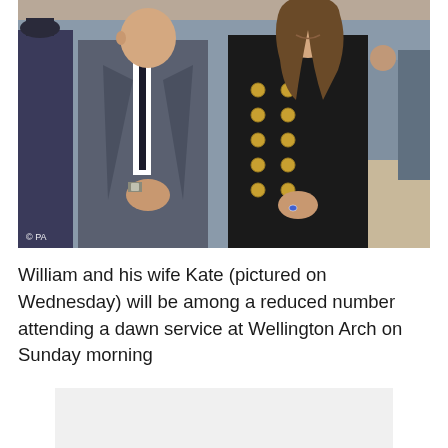[Figure (photo): Photo of William in a grey suit with black tie and Kate in a black double-breasted coat with gold buttons, standing together. A PA watermark is in the bottom left corner.]
William and his wife Kate (pictured on Wednesday) will be among a reduced number attending a dawn service at Wellington Arch on Sunday morning
[Figure (other): Light grey placeholder/advertisement box]